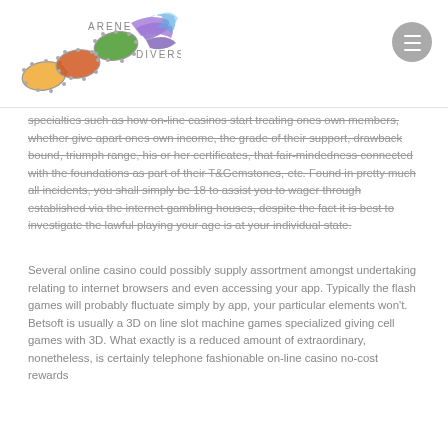ARENE DIVERSE
specialties such as how on-line casinos start treating ones own members, whether give apart ones own income, the grade of their support, drawback bound, triumph range, his or her certificates, that fair-mindedness connected with the foundations as part of their T&Gemstones, etc. Found in pretty much all incidents, you shall simply be 18 to assist you to wager through established via the internet gambling houses, despite the fact it is best to investigate the lawful playing your age is at your individual state.
Several online casino could possibly supply assortment amongst undertaking relating to internet browsers and even accessing your app. Typically the flash games will probably fluctuate simply by app, your particular elements won't. Betsoft is usually a 3D on line slot machine games specialized giving cell games with 3D. What exactly is a reduced amount of extraordinary, nonetheless, is certainly telephone fashionable on-line casino no-cost rewards